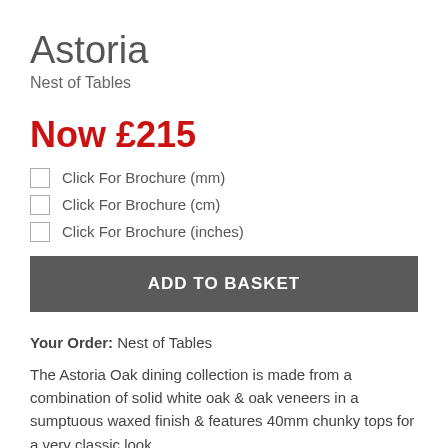Astoria
Nest of Tables
Now £215
Click For Brochure (mm)
Click For Brochure (cm)
Click For Brochure (inches)
ADD TO BASKET
Your Order: Nest of Tables
The Astoria Oak dining collection is made from a combination of solid white oak & oak veneers in a sumptuous waxed finish & features 40mm chunky tops for a very classic look.